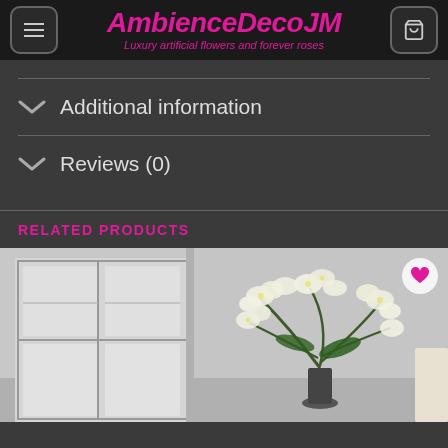AmbienceDecoJM – Luxury artificial flowers and forever roses
Additional information
Reviews (0)
RELATED PRODUCTS
[Figure (photo): Product photo showing white orchid flowers arrangement in a vase, displayed in a room with white French doors in the background]